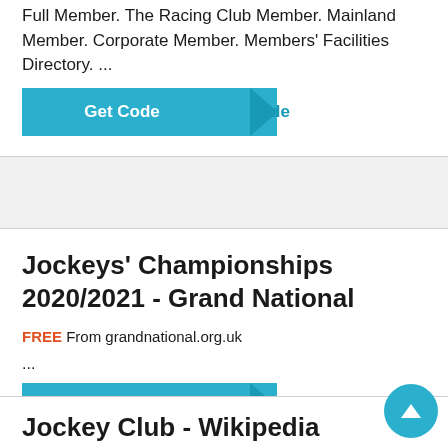Full Member. The Racing Club Member. Mainland Member. Corporate Member. Members' Facilities Directory. ...
[Figure (other): Get Code button with teal background and arrow shape with peeking 'de' text]
Jockeys' Championships 2020/2021 - Grand National
FREE From grandnational.org.uk
...
[Figure (other): Get Code button with teal background and arrow shape with peeking 'de' text]
Jockey Club - Wikipedia
[Figure (other): Circular scroll-to-top button in teal]